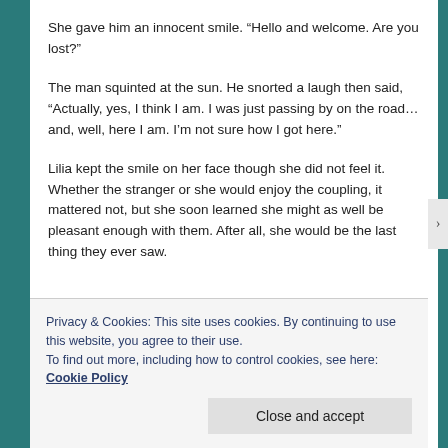She gave him an innocent smile. “Hello and welcome. Are you lost?”
The man squinted at the sun. He snorted a laugh then said, “Actually, yes, I think I am. I was just passing by on the road…and, well, here I am. I’m not sure how I got here.”
Lilia kept the smile on her face though she did not feel it. Whether the stranger or she would enjoy the coupling, it mattered not, but she soon learned she might as well be pleasant enough with them. After all, she would be the last thing they ever saw.
Privacy & Cookies: This site uses cookies. By continuing to use this website, you agree to their use.
To find out more, including how to control cookies, see here: Cookie Policy